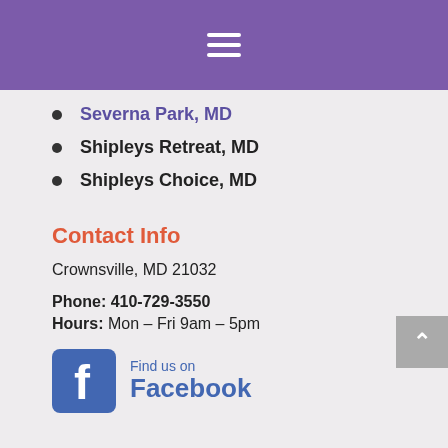Navigation menu (hamburger icon)
Severna Park, MD
Shipleys Retreat, MD
Shipleys Choice, MD
Contact Info
Crownsville, MD 21032
Phone: 410-729-3550
Hours: Mon – Fri 9am – 5pm
[Figure (logo): Find us on Facebook logo with Facebook icon]